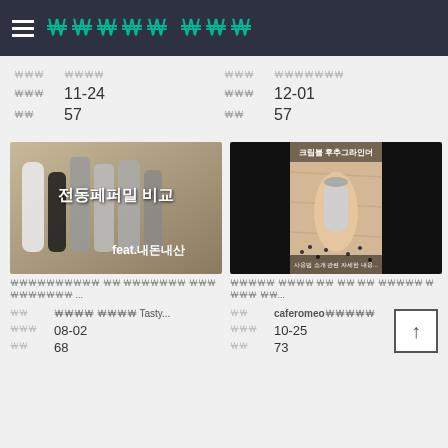햄버거메뉴 채널명
업로드일  11-24
조회  57
업로드일  12-01
조회  57
[Figure (screenshot): 전동페퍼밀 비교 feat.내돈내산 video thumbnail]
[Figure (screenshot): 크림블 후추그라인더 video thumbnail]
전동페퍼밀 비교 영상 썸네일 설명 텍스트 ...
크림블 후추 관련 영상 설명 텍스트 및 내용...
채널명  맛있닷 Tasty...
업로드일  08-02
조회  68
채널명  caferomeo채널명
업로드일  10-25
조회  73